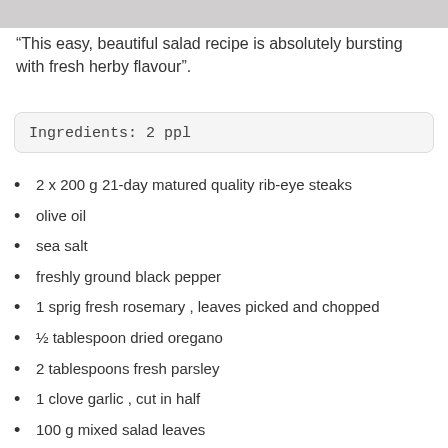[Figure (photo): Top portion of a food photo, partially cropped at the top of the page]
“This easy, beautiful salad recipe is absolutely bursting with fresh herby flavour”.
Ingredients: 2 ppl
2 x 200 g 21-day matured quality rib-eye steaks
olive oil
sea salt
freshly ground black pepper
1 sprig fresh rosemary , leaves picked and chopped
½ tablespoon dried oregano
2 tablespoons fresh parsley
1 clove garlic , cut in half
100 g mixed salad leaves
1 lemon , juice of it
4-6 cubes mozzarella, 1” cubes